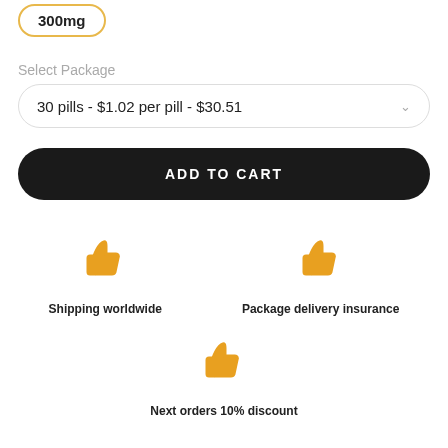300mg
Select Package
30 pills - $1.02 per pill - $30.51
ADD TO CART
[Figure (illustration): Golden thumbs up icon for Shipping worldwide]
Shipping worldwide
[Figure (illustration): Golden thumbs up icon for Package delivery insurance]
Package delivery insurance
[Figure (illustration): Golden thumbs up icon for Next orders 10% discount]
Next orders 10% discount